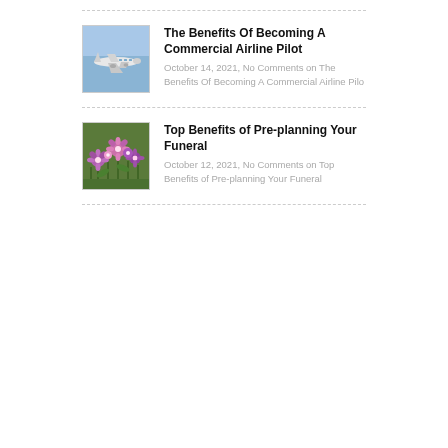[Figure (photo): Thumbnail image of a commercial airplane flying in a blue sky]
The Benefits Of Becoming A Commercial Airline Pilot
October 14, 2021, No Comments on The Benefits Of Becoming A Commercial Airline Pilo
[Figure (photo): Thumbnail image of colorful purple and pink flowers in a garden]
Top Benefits of Pre-planning Your Funeral
October 12, 2021, No Comments on Top Benefits of Pre-planning Your Funeral